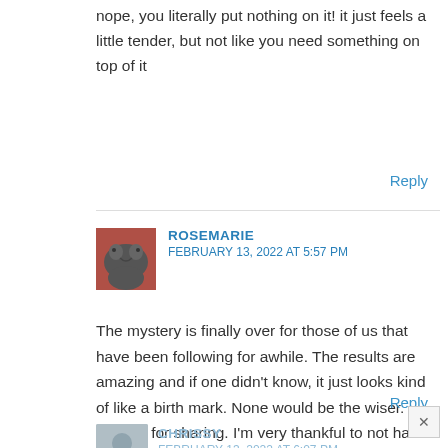nope, you literally put nothing on it! it just feels a little tender, but not like you need something on top of it
Reply
ROSEMARIE
FEBRUARY 13, 2022 AT 5:57 PM
[Figure (photo): Avatar photo of Rosemarie showing a dark-colored cat on a red background]
The mystery is finally over for those of us that have been following for awhile. The results are amazing and if one didn't know, it just looks kind of like a birth mark. None would be the wiser. Thanks for sharing. I'm very thankful to not have a tattoo regret. I'm too much of an over thinker.
Reply
CHRISSY
FEBRUARY 13, 2022 AT 6:07 PM
[Figure (photo): Default avatar silhouette for Chrissy in grey]